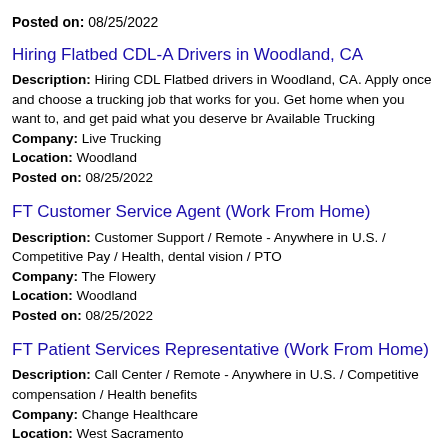Posted on: 08/25/2022
Hiring Flatbed CDL-A Drivers in Woodland, CA
Description: Hiring CDL Flatbed drivers in Woodland, CA. Apply once and choose a trucking job that works for you. Get home when you want to, and get paid what you deserve br Available Trucking
Company: Live Trucking
Location: Woodland
Posted on: 08/25/2022
FT Customer Service Agent (Work From Home)
Description: Customer Support / Remote - Anywhere in U.S. / Competitive Pay / Health, dental vision / PTO
Company: The Flowery
Location: Woodland
Posted on: 08/25/2022
FT Patient Services Representative (Work From Home)
Description: Call Center / Remote - Anywhere in U.S. / Competitive compensation / Health benefits
Company: Change Healthcare
Location: West Sacramento
Posted on: 08/25/2022
Maintenance Technicia...